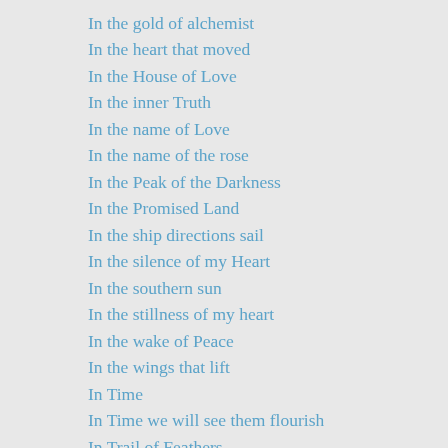In the gold of alchemist
In the heart that moved
In the House of Love
In the inner Truth
In the name of Love
In the name of the rose
In the Peak of the Darkness
In the Promised Land
In the ship directions sail
In the silence of my Heart
In the southern sun
In the stillness of my heart
In the wake of Peace
In the wings that lift
In Time
In Time we will see them flourish
In Trail of Feathers
In trailing backwards
In transformation
In Twirling